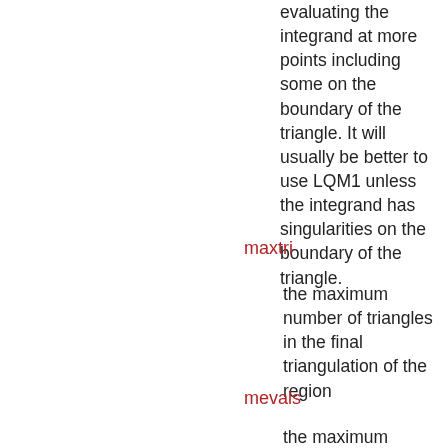evaluating the integrand at more points including some on the boundary of the triangle. It will usually be better to use LQM1 unless the integrand has singularities on the boundary of the triangle.
maxtri
the maximum number of triangles in the final triangulation of the region
mevals
the maximum